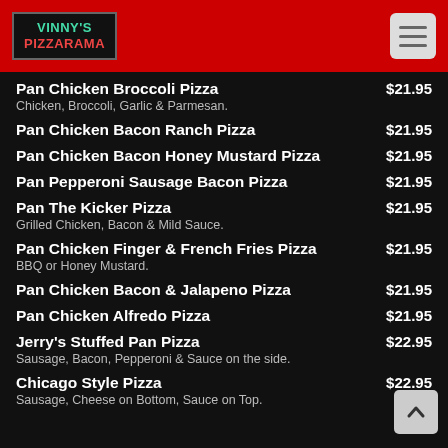VINNY'S PIZZARAMA
Pan Chicken Broccoli Pizza — $21.95
Chicken, Broccoli, Garlic & Parmesan.
Pan Chicken Bacon Ranch Pizza — $21.95
Pan Chicken Bacon Honey Mustard Pizza — $21.95
Pan Pepperoni Sausage Bacon Pizza — $21.95
Pan The Kicker Pizza — $21.95
Grilled Chicken, Bacon & Mild Sauce.
Pan Chicken Finger & French Fries Pizza — $21.95
BBQ or Honey Mustard.
Pan Chicken Bacon & Jalapeno Pizza — $21.95
Pan Chicken Alfredo Pizza — $21.95
Jerry's Stuffed Pan Pizza — $22.95
Sausage, Bacon, Pepperoni & Sauce on the side.
Chicago Style Pizza — $22.95
Sausage, Cheese on Bottom, Sauce on Top.